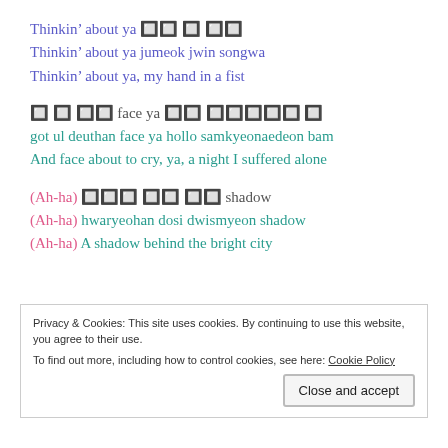Thinkin' about ya 주먹 쥔 송화
Thinkin' about ya jumeok jwin songwa
Thinkin' about ya, my hand in a fist
곧 울 듯한 face ya 홀로 삼켜내던 밤
got ul deuthan face ya hollo samkyeonaedeon bam
And face about to cry, ya, a night I suffered alone
(Ah-ha) 화려한 도시 뒤엔 shadow
(Ah-ha) hwaryeohan dosi dwismyeon shadow
(Ah-ha) A shadow behind the bright city
Privacy & Cookies: This site uses cookies. By continuing to use this website, you agree to their use.
To find out more, including how to control cookies, see here: Cookie Policy
Close and accept